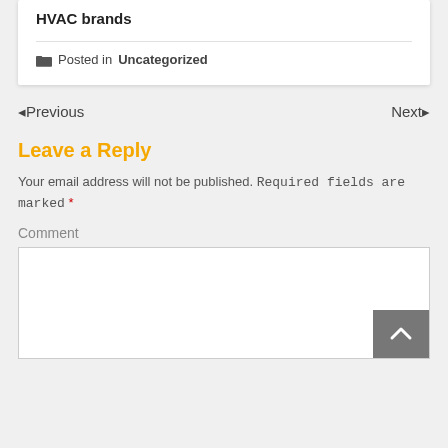HVAC brands
Posted in Uncategorized
◄Previous    Next►
Leave a Reply
Your email address will not be published. Required fields are marked *
Comment